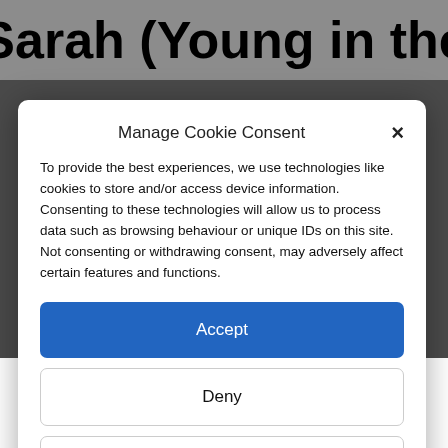Sarah (Young in the
Manage Cookie Consent
To provide the best experiences, we use technologies like cookies to store and/or access device information. Consenting to these technologies will allow us to process data such as browsing behaviour or unique IDs on this site. Not consenting or withdrawing consent, may adversely affect certain features and functions.
Accept
Deny
View preferences
Cookie Policy   Privacy & Cookie Policy, Terms of Use
[Figure (illustration): Colorful typographic illustration at the bottom of the page]